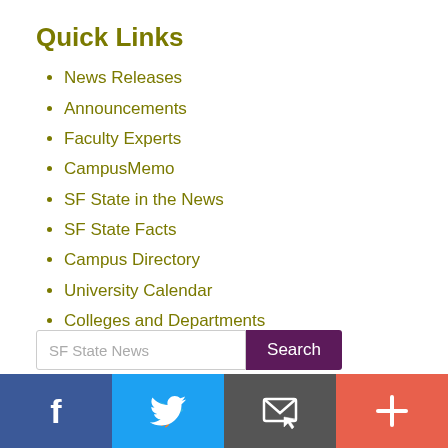Quick Links
News Releases
Announcements
Faculty Experts
CampusMemo
SF State in the News
SF State Facts
Campus Directory
University Calendar
Colleges and Departments
Athletics
Contact
[Figure (other): Search bar with text input 'SF State News' and purple Search button]
[Figure (other): Social media footer bar with Facebook (blue), Twitter (light blue), Email (gray), and Plus (coral/red) icons]